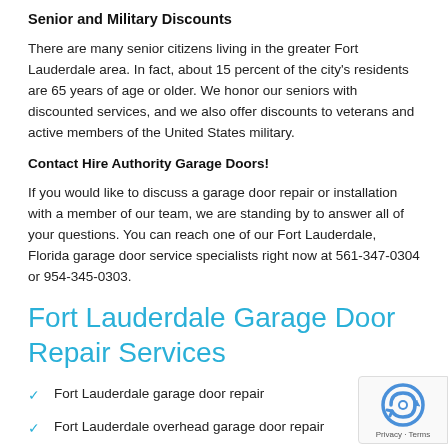Senior and Military Discounts
There are many senior citizens living in the greater Fort Lauderdale area.  In fact, about 15 percent of the city's residents are 65 years of age or older. We honor our seniors with discounted services, and we also offer discounts to veterans and active members of the United States military.
Contact Hire Authority Garage Doors!
If you would like to discuss a garage door repair or installation with a member of our team, we are standing by to answer all of your questions. You can reach one of our Fort Lauderdale, Florida garage door service specialists right now at 561-347-0304 or 954-345-0303.
Fort Lauderdale Garage Door Repair Services
Fort Lauderdale garage door repair
Fort Lauderdale overhead garage door repair
Fort Lauderdale garage door service